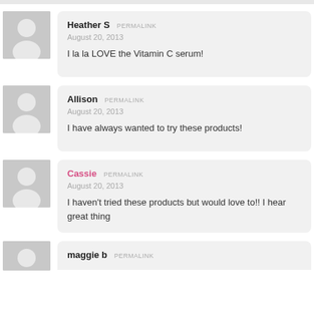Heather S — PERMALINK
August 20, 2013
I la la LOVE the Vitamin C serum!
Allison — PERMALINK
August 20, 2013
I have always wanted to try these products!
Cassie — PERMALINK
August 20, 2013
I haven't tried these products but would love to!! I hear great thing
maggie b — PERMALINK